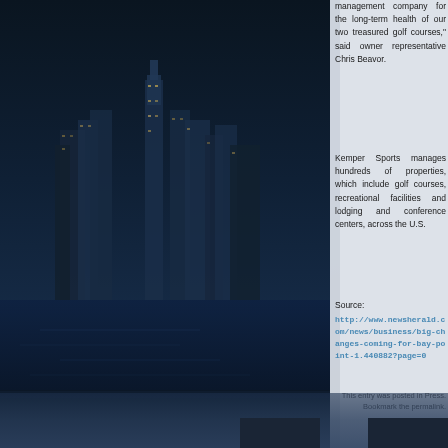[Figure (photo): Dark blue night cityscape/skyline photo with tall illuminated buildings reflected in water, occupying the left two-thirds of the page]
management company for the long-term health of our two treasured golf courses," said owner representative Chris Beavor.
Kemper Sports manages hundreds of properties, which include golf courses, recreational facilities and lodging and conference centers, across the U.S.
Source:
http://www.newsherald.com/news/business/big-changes-coming-for-bay-point-1.440882?page=0
This entry was posted in Press. Bookmark the permalink.